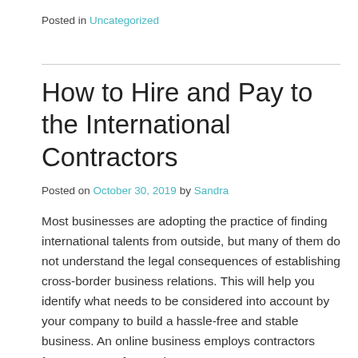Posted in Uncategorized
How to Hire and Pay to the International Contractors
Posted on October 30, 2019 by Sandra
Most businesses are adopting the practice of finding international talents from outside, but many of them do not understand the legal consequences of establishing cross-border business relations. This will help you identify what needs to be considered into account by your company to build a hassle-free and stable business. An online business employs contractors from a range of countries.
In deciding whether an individual is an independent contractor or an employee, a company has to take up all the factors